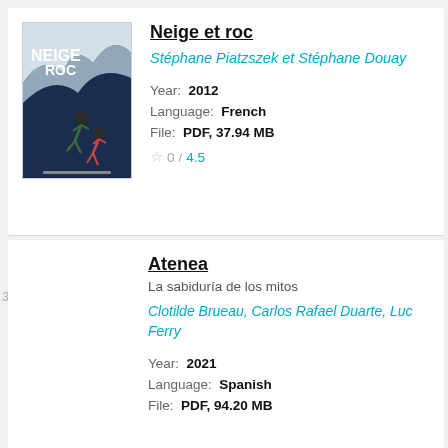[Figure (illustration): Book cover of 'Neige et Roc' with dark blue background, figures climbing]
Neige et roc
Stéphane Piatzszek et Stéphane Douay
Year: 2012
Language: French
File: PDF, 37.94 MB
0 / 4.5
Atenea
La sabiduría de los mitos
Clotilde Brueau, Carlos Rafael Duarte, Luc Ferry
Year: 2021
Language: Spanish
File: PDF, 94.20 MB